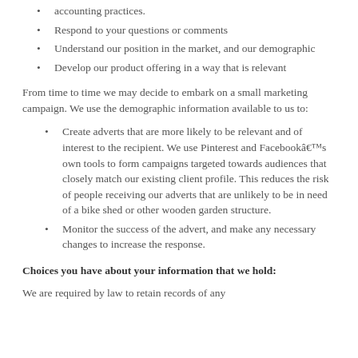accounting practices.
Respond to your questions or comments
Understand our position in the market, and our demographic
Develop our product offering in a way that is relevant
From time to time we may decide to embark on a small marketing campaign. We use the demographic information available to us to:
Create adverts that are more likely to be relevant and of interest to the recipient. We use Pinterest and Facebookâs own tools to form campaigns targeted towards audiences that closely match our existing client profile. This reduces the risk of people receiving our adverts that are unlikely to be in need of a bike shed or other wooden garden structure.
Monitor the success of the advert, and make any necessary changes to increase the response.
Choices you have about your information that we hold:
We are required by law to retain records of any